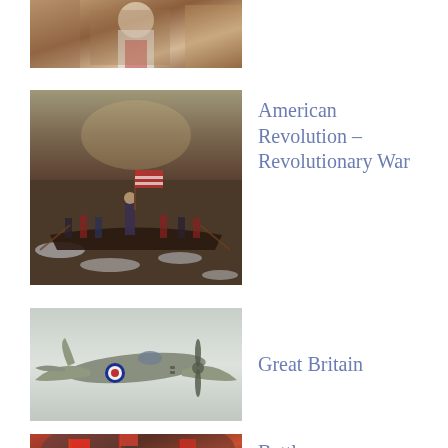[Figure (photo): Partial view of a historical painting showing a figure in military uniform, possibly Napoleon]
[Figure (photo): Painting of Washington Crossing the Delaware — soldiers in boats crossing an icy river with an American flag]
American Revolution - Revolutionary War
[Figure (photo): Photograph of a WWII-era Spitfire aircraft in flight from below, showing RAF roundel markings]
Great Britain
[Figure (photo): Partial view of a battle scene painting showing soldiers with flags and smoke]
Battles